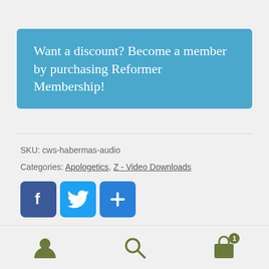Want a discount? Become a member by purchasing Reformer Membership!
SKU: cws-habermas-audio
Categories: Apologetics, Z - Video Downloads
[Figure (infographic): Social share buttons: Facebook, Twitter, and a plus/share button, all in blue rounded squares]
Reviews (0)
[Figure (infographic): Bottom navigation bar with user icon, search icon, and shopping cart icon with badge showing 1]